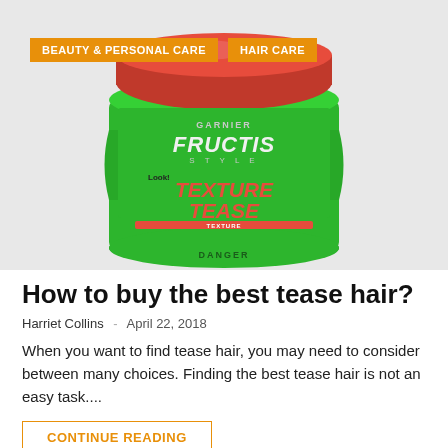[Figure (photo): Garnier Fructis Style Texture Tease hair product jar with green body and red lid, showing product label with 'TEXTURE TEASE' text in large letters]
BEAUTY & PERSONAL CARE
HAIR CARE
How to buy the best tease hair?
Harriet Collins  -  April 22, 2018
When you want to find tease hair, you may need to consider between many choices. Finding the best tease hair is not an easy task....
CONTINUE READING